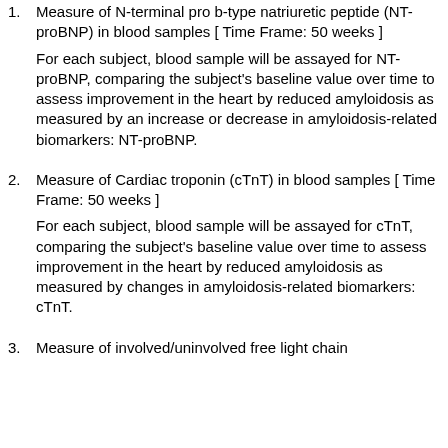Measure of N-terminal pro b-type natriuretic peptide (NT-proBNP) in blood samples [ Time Frame: 50 weeks ] For each subject, blood sample will be assayed for NT-proBNP, comparing the subject's baseline value over time to assess improvement in the heart by reduced amyloidosis as measured by an increase or decrease in amyloidosis-related biomarkers: NT-proBNP.
Measure of Cardiac troponin (cTnT) in blood samples [ Time Frame: 50 weeks ] For each subject, blood sample will be assayed for cTnT, comparing the subject's baseline value over time to assess improvement in the heart by reduced amyloidosis as measured by changes in amyloidosis-related biomarkers: cTnT.
Measure of involved/uninvolved free light chain